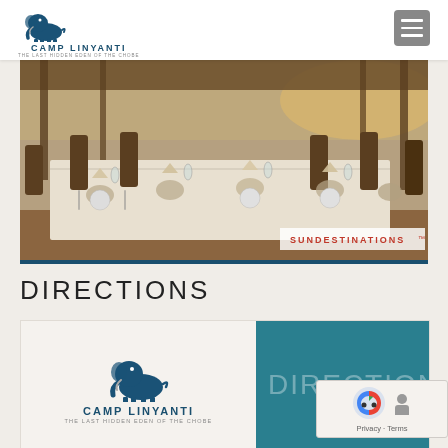CAMP LINYANTI — THE LAST HIDDEN EDEN OF THE CHOBE
[Figure (photo): Outdoor dining table elegantly set with white tablecloth, glassware, plates, and decorative napkins on a wooden deck overlooking a body of water. Teak chairs line the table. Warm golden light fills the scene. SUNDESTINATIONS watermark visible in bottom right.]
DIRECTIONS
[Figure (logo): Camp Linyanti logo featuring a stylized elephant above the text CAMP LINYANTI and tagline THE LAST HIDDEN EDEN OF THE CHOBE, alongside a teal panel with partially visible text DIRECTION]
[Figure (other): reCAPTCHA widget overlay showing robot icon and Privacy - Terms text]